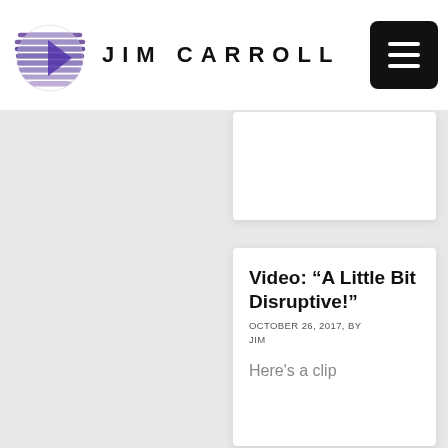JIM CARROLL
Video: “A Little Bit Disruptive!”
OCTOBER 26, 2017, BY JIM
Here's a clip